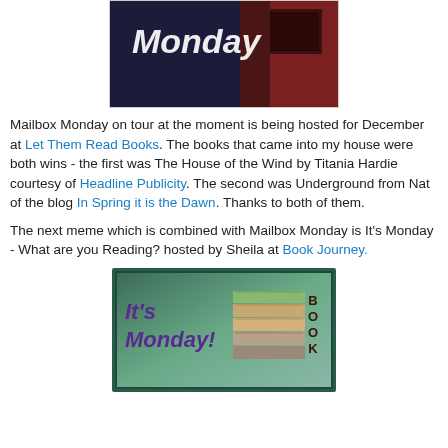[Figure (photo): Top portion of a Mailbox Monday blog meme image showing the word 'Monday' in cursive white text on a dark background with a red mailbox]
Mailbox Monday on tour at the moment is being hosted for December at Let Them Read Books. The books that came into my house were both wins - the first was The House of the Wind by Titania Hardie courtesy of Headline Publicity. The second was Underground from Nat of the blog In Spring it is the Dawn. Thanks to both of them.
The next meme which is combined with Mailbox Monday is It's Monday - What are you Reading? hosted by Sheila at Book Journey.
[Figure (illustration): It's Monday! What are you Reading? book meme graphic with purple text on green gradient background and a stack of books on the right with the word BOOK spelled vertically]